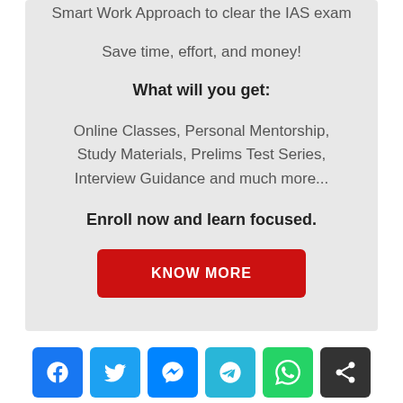Smart Work Approach to clear the IAS exam
Save time, effort, and money!
What will you get:
Online Classes, Personal Mentorship, Study Materials, Prelims Test Series, Interview Guidance and much more...
Enroll now and learn focused.
[Figure (other): Red button labeled KNOW MORE]
[Figure (other): Social media share icons: Facebook, Twitter, Messenger, Telegram, WhatsApp, Share]